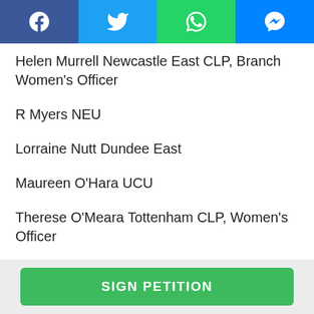Social share buttons: Facebook, Twitter, WhatsApp, Messenger
Helen Murrell Newcastle East CLP, Branch Women's Officer
R Myers NEU
Lorraine Nutt Dundee East
Maureen O'Hara UCU
Therese O'Meara Tottenham CLP, Women's Officer
Margaret Page Bristol West CLP
SIGN PETITION